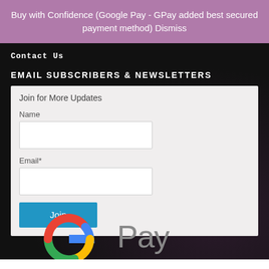Buy with Confidence (Google Pay - GPay added best secured payment method) Dismiss
Contact Us
EMAIL SUBSCRIBERS & NEWSLETTERS
Join for More Updates
Name
Email*
Join
[Figure (logo): Google G logo and GPay text logo at the bottom of the dark section]